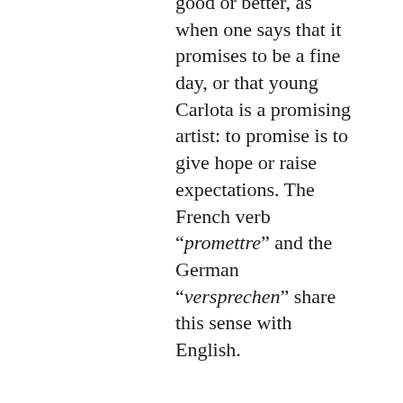good or better, as when one says that it promises to be a fine day, or that young Carlota is a promising artist: to promise is to give hope or raise expectations. The French verb “promettre” and the German “versprechen” share this sense with English.